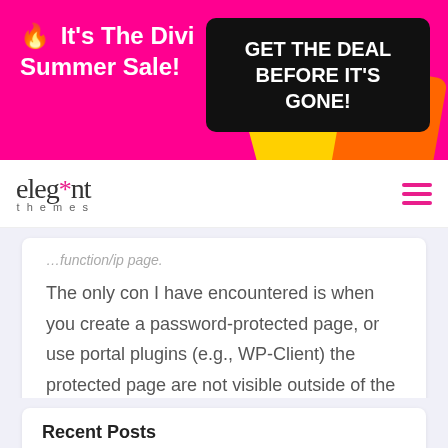[Figure (infographic): Pink promotional banner for Divi Summer Sale with yellow and orange decorative shapes. Left side says '🔥 It's The Divi Summer Sale!' and right side has a black box saying 'GET THE DEAL BEFORE IT'S GONE!']
elegant*themes — navigation bar with logo and hamburger menu icon
...function/ip page.
The only con I have encountered is when you create a password-protected page, or use portal plugins (e.g., WP-Client) the protected page are not visible outside of the IP range specified.
Recent Posts
What is Omnichannel Marketing? A Complete Guide...